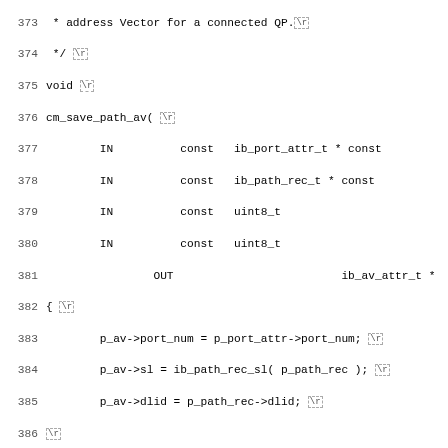[Figure (other): Source code listing in monospace font showing C function cm_save_path_av() with line numbers 373-404+, displaying InfiniBand path attribute saving logic with conditional GRH handling]